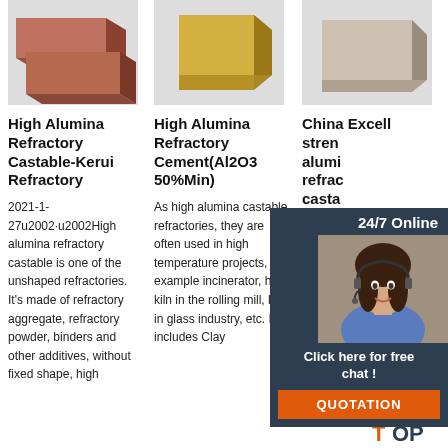[Figure (photo): High alumina refractory castable brick — dark reddish-brown color]
[Figure (photo): High alumina refractory cement block — golden/yellow color]
[Figure (photo): China alumina refractory castable brick — beige/tan color]
High Alumina Refractory Castable-Kerui Refractory
High Alumina Refractory Cement(Al2O3 50%Min)
China Excellent strength alumina refractory castable
2021-1-27u2002·u2002High alumina refractory castable is one of the unshaped refractories. It's made of refractory aggregate, refractory powder, binders and other additives, without fixed shape, high liquidity, continues
As high alumina castable refractories, they are often used in high temperature projects, for example incinerator, heat kiln in the rolling mill, kiln in glass industry, etc. It includes Clay
2021-1-24u2002 alumina castable is one of the unshaped refractory materials, high alumina refractory castable is made of refractory
[Figure (infographic): 24/7 Online chat widget with agent photo, click here for free chat, QUOTATION button]
[Figure (logo): TOP icon with orange dots]